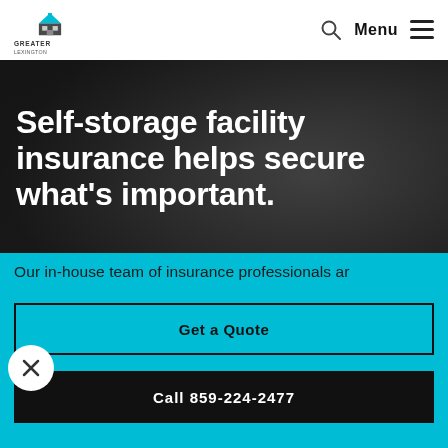Greater Lexington Insurance Agency — Menu
Self-storage facility insurance helps secure what's important.
Our in-house team of insurance professionals ar
Get a Quote
Call 859-224-2477